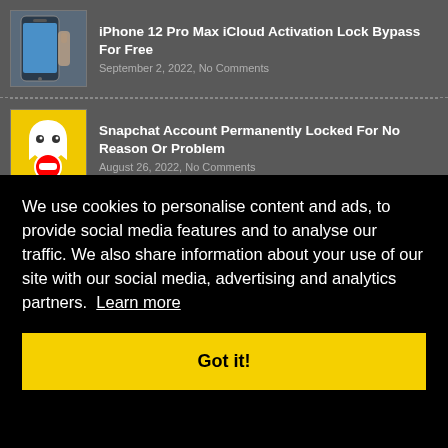[Figure (screenshot): Thumbnail of a blue iPhone 12 Pro Max being held in a hand]
iPhone 12 Pro Max iCloud Activation Lock Bypass For Free
September 2, 2022, No Comments
[Figure (screenshot): Snapchat ghost logo on yellow background with red no-entry sign overlay]
Snapchat Account Permanently Locked For No Reason Or Problem
August 26, 2022, No Comments
We use cookies to personalise content and ads, to provide social media features and to analyse our traffic. We also share information about your use of our site with our social media, advertising and analytics partners. Learn more
Got it!